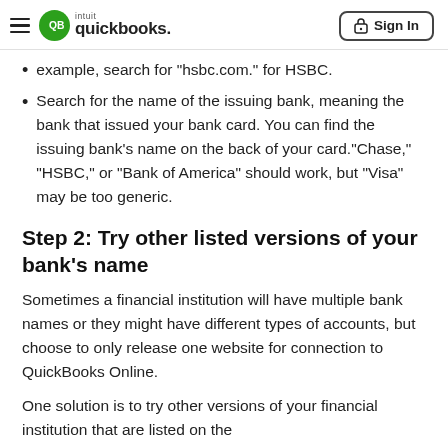QuickBooks — Sign In
example, search for "hsbc.com." for HSBC.
Search for the name of the issuing bank, meaning the bank that issued your bank card. You can find the issuing bank's name on the back of your card."Chase," "HSBC," or "Bank of America" should work, but "Visa" may be too generic.
Step 2: Try other listed versions of your bank's name
Sometimes a financial institution will have multiple bank names or they might have different types of accounts, but choose to only release one website for connection to QuickBooks Online.
One solution is to try other versions of your financial institution that are listed on the...